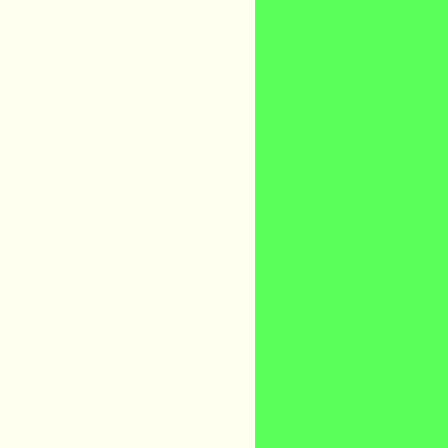the set point.
 * Record the IP H1/H2/H3 coil output values. If they are large (e.g., more than 5000) consider doing a round of offloading to the IP FRs before pumpdown/venting begins (see below for instructions).
 * Check and record the GAS SET setpoints and whether it sensible. Compare it to the height budget in [[../BSData]]/[[../SR2Data]]/[[../SR3Data]]/[[../SRMData]].
 * Check and record